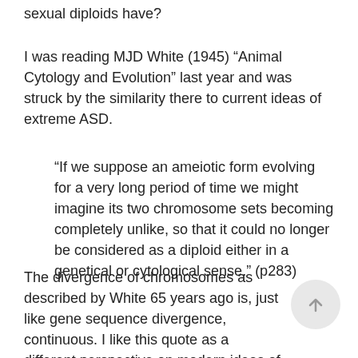sexual diploids have?
I was reading MJD White (1945) “Animal Cytology and Evolution” last year and was struck by the similarity there to current ideas of extreme ASD.
“If we suppose an ameiotic form evolving for a very long period of time we might imagine its two chromosome sets becoming completely unlike, so that it could no longer be considered as a diploid either in a genetical or cytological sense.” (p283)
The divergence of chromosomes as described by White 65 years ago is, just like gene sequence divergence, continuous. I like this quote as a different perspective on modern ideas of extreme ASD in a...